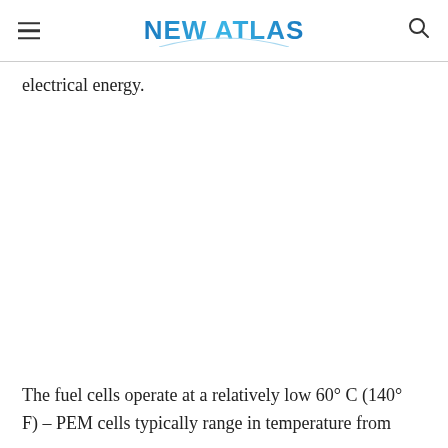NEW ATLAS
electrical energy.
The fuel cells operate at a relatively low 60° C (140° F) – PEM cells typically range in temperature from